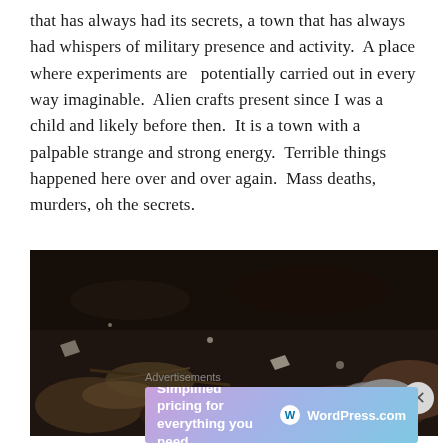that has always had its secrets, a town that has always had whispers of military presence and activity.  A place where experiments are  potentially carried out in every way imaginable.  Alien crafts present since I was a child and likely before then.  It is a town with a palpable strange and strong energy.  Terrible things happened here over and over again.  Mass deaths, murders, oh the secrets.
[Figure (photo): Dark close-up photograph of rocky ground with stones, pebbles, and debris — dark earthy tones, browns and blacks]
Advertisements
[Figure (screenshot): WordPress.com advertisement banner with gradient background (purple to blue). Text reads: Simplified pricing for everything you need. WordPress.com logo on right.]